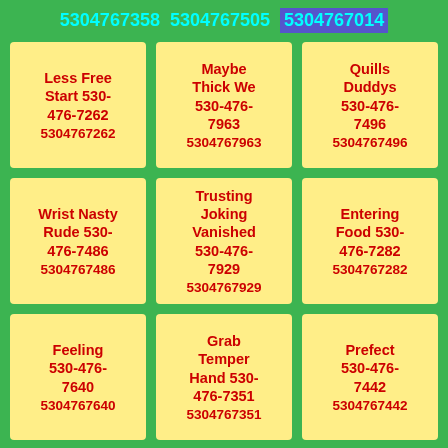5304767358  5304767505  5304767014
Less Free Start 530-476-7262 5304767262
Maybe Thick We 530-476-7963 5304767963
Quills Duddys 530-476-7496 5304767496
Wrist Nasty Rude 530-476-7486 5304767486
Trusting Joking Vanished 530-476-7929 5304767929
Entering Food 530-476-7282 5304767282
Feeling 530-476-7640 5304767640
Grab Temper Hand 530-476-7351 5304767351
Prefect 530-476-7442 5304767442